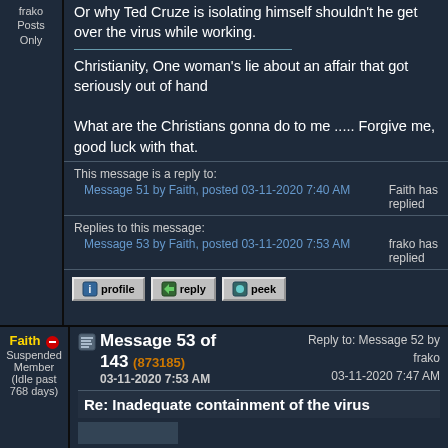frako Posts Only
Or why Ted Cruze is isolating himself shouldn't he get over the virus while working.

Christianity, One woman's lie about an affair that got seriously out of hand

What are the Christians gonna do to me ..... Forgive me, good luck with that.
This message is a reply to:
Message 51 by Faith, posted 03-11-2020 7:40 AM
Faith has replied
Replies to this message:
Message 53 by Faith, posted 03-11-2020 7:53 AM
frako has replied
Faith
Suspended Member
(Idle past 768 days)
Message 53 of 143 (873185)
03-11-2020 7:53 AM
Reply to: Message 52 by frako
03-11-2020 7:47 AM
Re: Inadequate containment of the virus